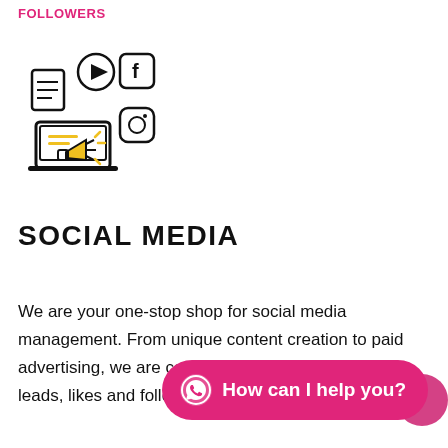FOLLOWERS
[Figure (illustration): Social media marketing icon with laptop, megaphone, and social media platform icons (Facebook, Instagram, video play) in black and yellow]
SOCIAL MEDIA
We are your one-stop shop for social media management. From unique content creation to paid advertising, we are committed to increasing your leads, likes and followers!
[Figure (other): WhatsApp chat button with text 'How can I help you?' in pink/magenta rounded button]